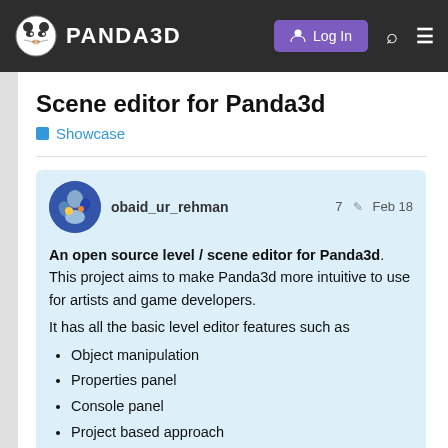PANDA3D | Log In
Scene editor for Panda3d
Showcase
obaid_ur_rehman   7  Feb 18
An open source level / scene editor for Panda3d. This project aims to make Panda3d more intuitive to use for artists and game developers.
It has all the basic level editor features such as
Object manipulation
Properties panel
Console panel
Project based approach
Scene graph
Resources browser
1 / 10